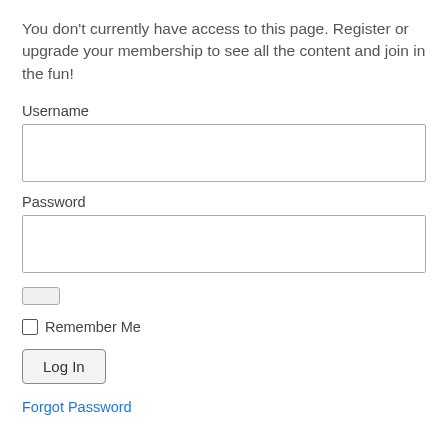You don't currently have access to this page. Register or upgrade your membership to see all the content and join in the fun!
Username
Password
Remember Me
Log In
Forgot Password